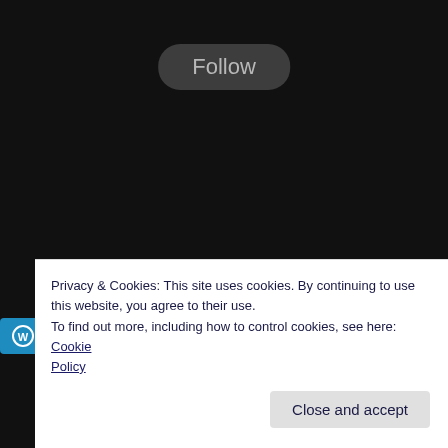[Figure (screenshot): Dark background webpage with a 'Follow' button at the top center (rounded rectangle, dark gray), a 'Follow Phi' button at the left side (blue, with WordPress icon), and a 'Home' link near the bottom center. A cookie consent banner overlays the bottom portion of the page with privacy text, a 'Cookie Policy' link, and a 'Close and accept' button.]
Follow
Follow Phi
Home
Privacy & Cookies: This site uses cookies. By continuing to use this website, you agree to their use.
To find out more, including how to control cookies, see here: Cookie Policy
Close and accept